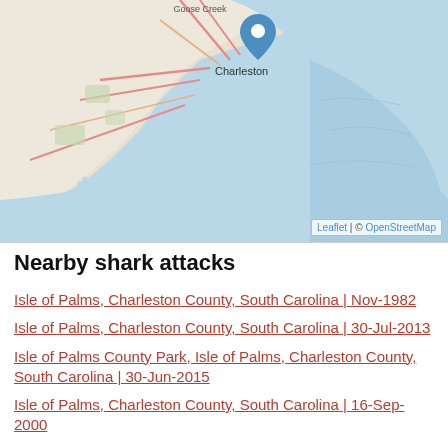[Figure (map): Interactive map showing Charleston, South Carolina coastal area with a blue location pin marker over Charleston. The map shows waterways, roads, and the coastline with the Atlantic Ocean to the right. Attribution: Leaflet | © OpenStreetMap]
Nearby shark attacks
Isle of Palms, Charleston County, South Carolina | Nov-1982
Isle of Palms, Charleston County, South Carolina | 30-Jul-2013
Isle of Palms County Park, Isle of Palms, Charleston County, South Carolina | 30-Jun-2015
Isle of Palms, Charleston County, South Carolina | 16-Sep-2000